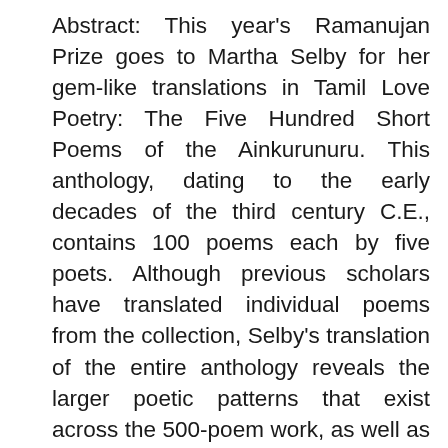Abstract: This year's Ramanujan Prize goes to Martha Selby for her gem-like translations in Tamil Love Poetry: The Five Hundred Short Poems of the Ainkurunuru. This anthology, dating to the early decades of the third century C.E., contains 100 poems each by five poets. Although previous scholars have translated individual poems from the collection, Selby's translation of the entire anthology reveals the larger poetic patterns that exist across the 500-poem work, as well as the degree to which the five poets share a set of literary conventions but continue to innovate within their limits. Ainkurunuru presents its poems in groups of ten, and Selby enables the reader to savor the nuances of the five phases of love by preceding each decad with brief insightful comments that show the range of literary strategies in the decad, demonstrating how even small changes in wording can shift the impact of shared imagery in dramatic ways. With impressive skill, Selby manages to convey the extreme conc.